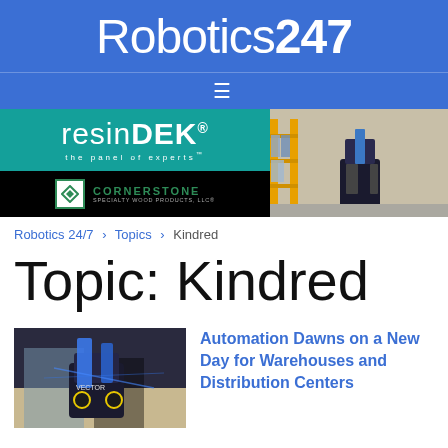Robotics247
[Figure (logo): Robotics 24/7 website logo on blue background]
[Figure (photo): Advertisement banner: ResinDEK the panel of experts by Cornerstone Specialty Wood Products, LLC, alongside a warehouse robot photo, and a partially visible Flo/AG advertisement]
Robotics 24/7 > Topics > Kindred
Topic: Kindred
[Figure (photo): Photo of a warehouse robot (Vector) in a distribution center environment with blue lighting]
Automation Dawns on a New Day for Warehouses and Distribution Centers